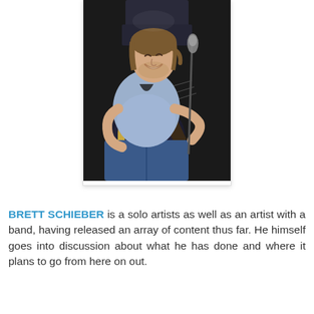[Figure (photo): A man with long hair tied back and a beard smiling while playing an acoustic guitar with a yellow strap, seated in front of a microphone on a dark stage, wearing a light blue t-shirt and jeans.]
BRETT SCHIEBER is a solo artists as well as an artist with a band, having released an array of content thus far. He himself goes into discussion about what he has done and where it plans to go from here on out.